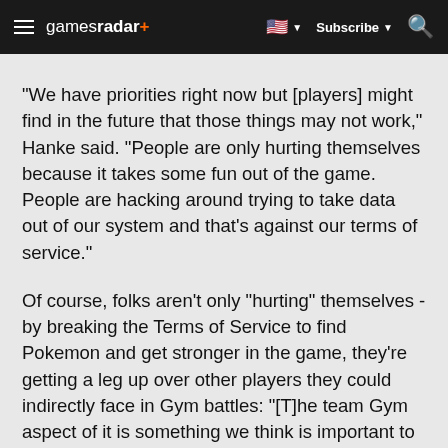gamesradar+ Subscribe
"We have priorities right now but [players] might find in the future that those things may not work," Hanke said. "People are only hurting themselves because it takes some fun out of the game. People are hacking around trying to take data out of our system and that's against our terms of service."
Of course, folks aren't only "hurting" themselves - by breaking the Terms of Service to find Pokemon and get stronger in the game, they're getting a leg up over other players they could indirectly face in Gym battles: "[T]he team Gym aspect of it is something we think is important to the game long-term," Hanke